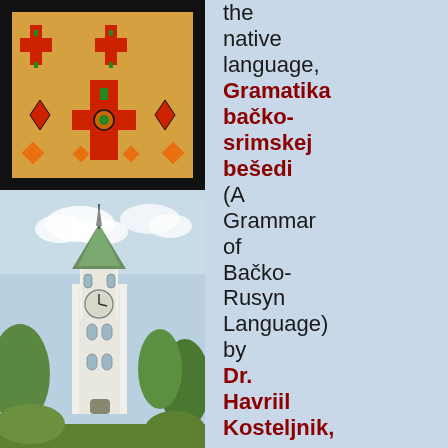[Figure (illustration): Left decorative strip with embroidered folk art pattern at top (orange, red, black geometric cross motifs), a church tower photograph in the middle (white church with clock tower and green surroundings), and embroidered folk art pattern at bottom (blue, orange, green, black geometric motifs on black border).]
the native language, Gramatika bačko-srimskej bešedi (A Grammar of Bačko-Rusyn Language) by Dr. Havriil Kosteljnik, was published in 1923. Sports were also considered important